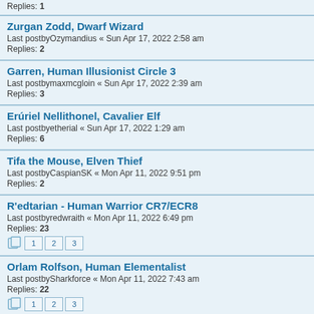Replies: 1
Zurgan Zodd, Dwarf Wizard
Last postbyOzymandius « Sun Apr 17, 2022 2:58 am
Replies: 2
Garren, Human Illusionist Circle 3
Last postbymaxmcgloin « Sun Apr 17, 2022 2:39 am
Replies: 3
Erúriel Nellithonel, Cavalier Elf
Last postbyetherial « Sun Apr 17, 2022 1:29 am
Replies: 6
Tifa the Mouse, Elven Thief
Last postbyCaspianSK « Mon Apr 11, 2022 9:51 pm
Replies: 2
R'edtarian - Human Warrior CR7/ECR8
Last postbyredwraith « Mon Apr 11, 2022 6:49 pm
Replies: 23
Pages: 1 2 3
Orlam Rolfson, Human Elementalist
Last postbySharkforce « Mon Apr 11, 2022 7:43 am
Replies: 22
Pages: 1 2 3
Garak of Irondelve, Ork Archer
Last postbySharkforce « Mon Apr 11, 2022 6:52 am
Replies: 10
Pages: 1 2
Strata, Obsidiman Gauntlet [ ECR 9, Circle 8 ]
Last postbySerespar « Sun Apr 10, 2022 7:52 pm
Replies: 35